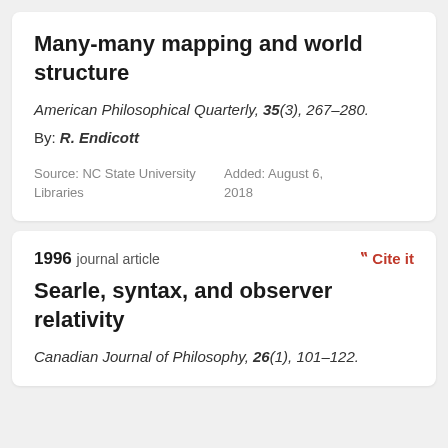Many-many mapping and world structure
American Philosophical Quarterly, 35(3), 267–280.
By: R. Endicott
Source: NC State University Libraries
Added: August 6, 2018
1996 journal article
Cite it
Searle, syntax, and observer relativity
Canadian Journal of Philosophy, 26(1), 101–122.